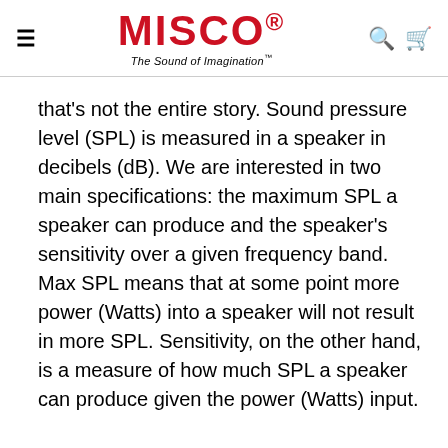MISCO® The Sound of Imagination™
that's not the entire story. Sound pressure level (SPL) is measured in a speaker in decibels (dB). We are interested in two main specifications: the maximum SPL a speaker can produce and the speaker's sensitivity over a given frequency band.  Max SPL means that at some point more power (Watts) into a speaker will not result in more SPL. Sensitivity, on the other hand, is a measure of how much SPL a speaker can produce given the power (Watts) input.